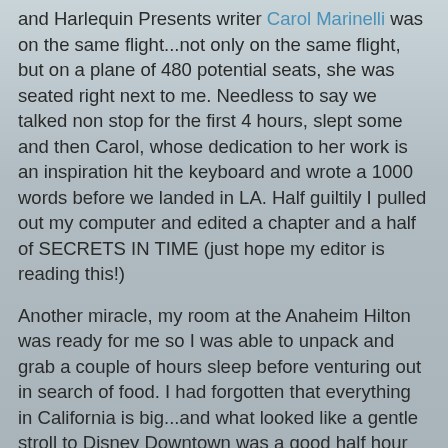and Harlequin Presents writer Carol Marinelli was on the same flight...not only on the same flight, but on a plane of 480 potential seats, she was seated right next to me. Needless to say we talked non stop for the first 4 hours, slept some and then Carol, whose dedication to her work is an inspiration hit the keyboard and wrote a 1000 words before we landed in LA. Half guiltily I pulled out my computer and edited a chapter and a half of SECRETS IN TIME (just hope my editor is reading this!)
Another miracle, my room at the Anaheim Hilton was ready for me so I was able to unpack and grab a couple of hours sleep before venturing out in search of food. I had forgotten that everything in California is big...and what looked like a gentle stroll to Disney Downtown was a good half hour hike. Pick the Aussie...in a town where everyone is on holiday and the wardrobe de jour for man, woman and child is shorts and a tee shirt, there I was in long pants, a long sleeve shirt and a decidedly unflattering (but lightweight) hat pulled down to my eyes. Sun...arrgh...I may turn to dust!